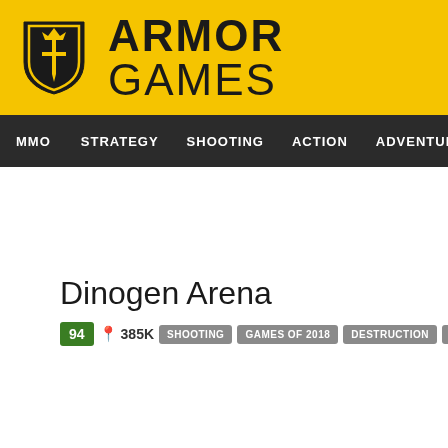[Figure (logo): Armor Games logo — yellow header bar with shield logo and ARMOR GAMES text]
MMO  STRATEGY  SHOOTING  ACTION  ADVENTURE  P
Dinogen Arena
94  385K  SHOOTING  GAMES OF 2018  DESTRUCTION  EXPLOSIVE  DI